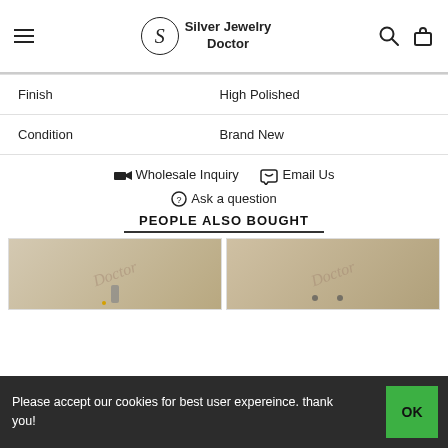Silver Jewelry Doctor
| Finish | High Polished |
| Condition | Brand New |
🚚 Wholesale Inquiry   📞 Email Us
? Ask a question
PEOPLE ALSO BOUGHT
[Figure (photo): Two product images showing jewelry items on wood background with watermark 'Doctor']
Please accept our cookies for best user expereince. thank you!